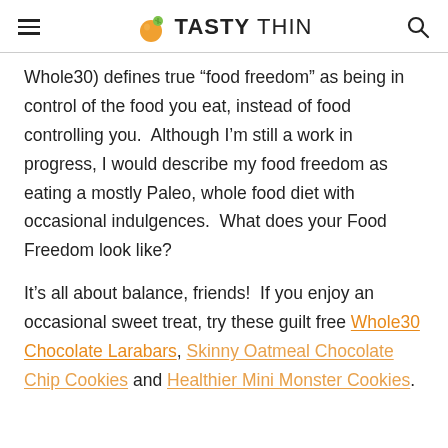TASTYTHIN
Whole30) defines true “food freedom” as being in control of the food you eat, instead of food controlling you.  Although I’m still a work in progress, I would describe my food freedom as eating a mostly Paleo, whole food diet with occasional indulgences.  What does your Food Freedom look like?
It’s all about balance, friends!  If you enjoy an occasional sweet treat, try these guilt free Whole30 Chocolate Larabars, Skinny Oatmeal Chocolate Chip Cookies and Healthier Mini Monster Cookies.